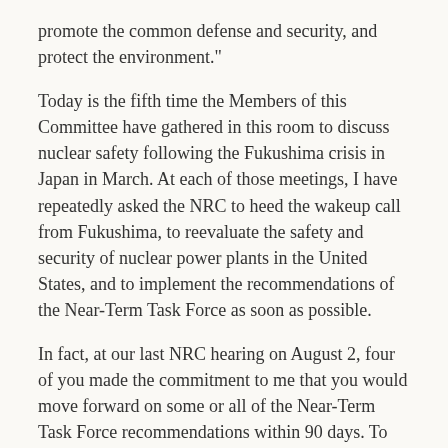promote the common defense and security, and protect the environment."
Today is the fifth time the Members of this Committee have gathered in this room to discuss nuclear safety following the Fukushima crisis in Japan in March. At each of those meetings, I have repeatedly asked the NRC to heed the wakeup call from Fukushima, to reevaluate the safety and security of nuclear power plants in the United States, and to implement the recommendations of the Near-Term Task Force as soon as possible.
In fact, at our last NRC hearing on August 2, four of you made the commitment to me that you would move forward on some or all of the Near-Term Task Force recommendations within 90 days. To my great disappointment, that hasn't happened.
Although Chairman Jaczko repeatedly asked you to keep your commitment to move expeditiously on safety, you are more than a month overdue in that commitment. It doesn't